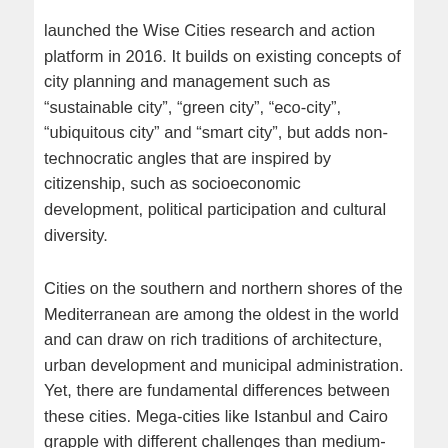launched the Wise Cities research and action platform in 2016. It builds on existing concepts of city planning and management such as “sustainable city”, “green city”, “eco-city”, “ubiquitous city” and “smart city”, but adds non-technocratic angles that are inspired by citizenship, such as socioeconomic development, political participation and cultural diversity.
Cities on the southern and northern shores of the Mediterranean are among the oldest in the world and can draw on rich traditions of architecture, urban development and municipal administration. Yet, there are fundamental differences between these cities. Mega-cities like Istanbul and Cairo grapple with different challenges than medium-sized cities along the Côte d’Azur that have higher per capita incomes and better infrastructure. Cities in the north of the Mediterranean also have stronger traditions of municipal self-governance and autonomy (Le Galès, 2002). In some